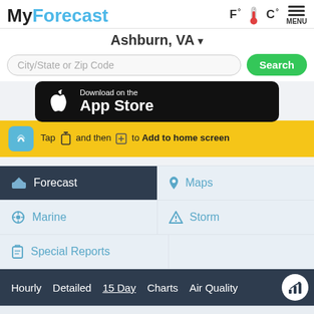MyForecast
F°🌡C° MENU
Ashburn, VA ▾
City/State or Zip Code
Search
[Figure (screenshot): Download on the App Store button (black rounded rectangle with Apple logo)]
Tap and then to Add to home screen
Forecast
Maps
Marine
Storm
Special Reports
Hourly   Detailed   15 Day   Charts   Air Quality